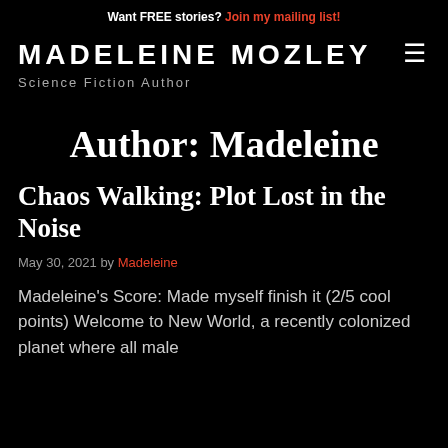Want FREE stories? Join my mailing list!
MADELEINE MOZLEY
Science Fiction Author
Author: Madeleine
Chaos Walking: Plot Lost in the Noise
May 30, 2021 by Madeleine
Madeleine's Score: Made myself finish it (2/5 cool points) Welcome to New World, a recently colonized planet where all male